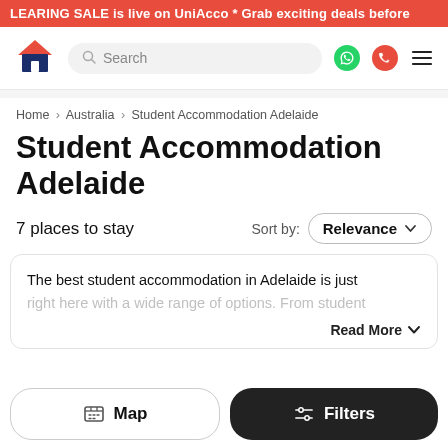CLEARING SALE is live on UniAcco * Grab exciting deals before
[Figure (logo): UniAcco house-shaped logo in navy and red]
Home > Australia > Student Accommodation Adelaide
Student Accommodation Adelaide
7 places to stay   Sort by: Relevance
The best student accommodation in Adelaide is just right here with a wide range of options. From student
Read More
Map   Filters